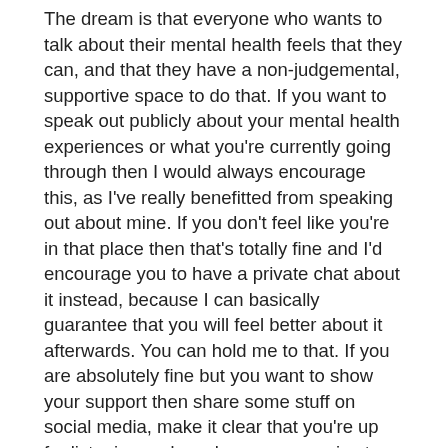The dream is that everyone who wants to talk about their mental health feels that they can, and that they have a non-judgemental, supportive space to do that. If you want to speak out publicly about your mental health experiences or what you're currently going through then I would always encourage this, as I've really benefitted from speaking out about mine. If you don't feel like you're in that place then that's totally fine and I'd encourage you to have a private chat about it instead, because I can basically guarantee that you will feel better about it afterwards. You can hold me to that. If you are absolutely fine but you want to show your support then share some stuff on social media, make it clear that you're up for listening and maybe use your voice to encourage your school / community / workplace to be open and supportive of mental health.
I've said in posts before, I had little choice but to tell people about my anxiety when it first hit because I was a visible trembling wreck of a person and it was very obvious, but I have since learnt how to hide it very well meaning that a lot of people don't know. I know how hard it can be to talk about mental health. I know how difficult it can be to tell new people – new friends, people you like, new employers, new hairdressers, new therapists, new